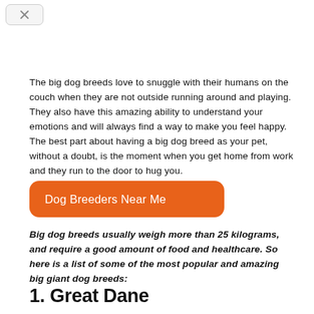The big dog breeds love to snuggle with their humans on the couch when they are not outside running around and playing. They also have this amazing ability to understand your emotions and will always find a way to make you feel happy. The best part about having a big dog breed as your pet, without a doubt, is the moment when you get home from work and they run to the door to hug you.
[Figure (other): Orange rounded button with white text reading 'Dog Breeders Near Me']
Big dog breeds usually weigh more than 25 kilograms, and require a good amount of food and healthcare. So here is a list of some of the most popular and amazing big giant dog breeds:
1. Great Dane